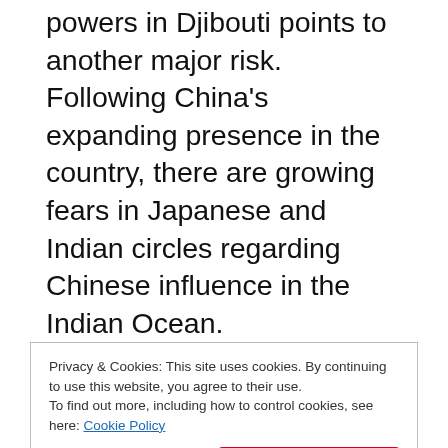powers in Djibouti points to another major risk. Following China's expanding presence in the country, there are growing fears in Japanese and Indian circles regarding Chinese influence in the Indian Ocean.
The result is expansion of Japanese influence in Djibouti. This has not just exported the tensions in the East China Sea to Africa but has also made Africa practically complicit in the actions of its guests elsewhere.
Privacy & Cookies: This site uses cookies. By continuing to use this website, you agree to their use.
To find out more, including how to control cookies, see here: Cookie Policy
operations in Yemen. Also important is the